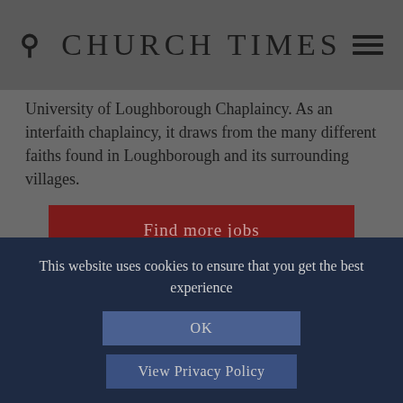CHURCH TIMES
University of Loughborough Chaplaincy. As an interfaith chaplaincy, it draws from the many different faiths found in Loughborough and its surrounding villages.
Find more jobs
FORTHCOMING EVENTS
8 September 2022
Church Times Cricket Cup: North v. South
This website uses cookies to ensure that you get the best experience
OK
View Privacy Policy